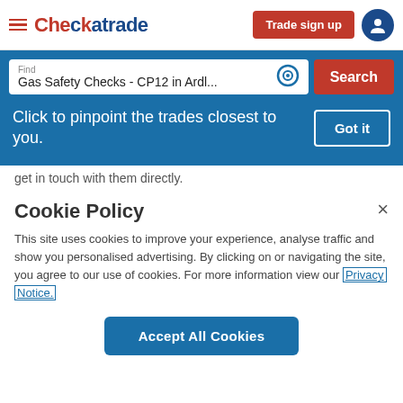[Figure (screenshot): Checkatrade website header with hamburger menu, logo, Trade sign up button, and user icon]
[Figure (screenshot): Search bar with 'Find Gas Safety Checks - CP12 in Ardl...' input, location icon, and Search button on blue background]
[Figure (screenshot): Blue tooltip popup saying 'Click to pinpoint the trades closest to you.' with Got it button]
get in touch with them directly.
Cookie Policy
This site uses cookies to improve your experience, analyse traffic and show you personalised advertising. By clicking on or navigating the site, you agree to our use of cookies. For more information view our Privacy Notice.
[Figure (screenshot): Accept All Cookies button]